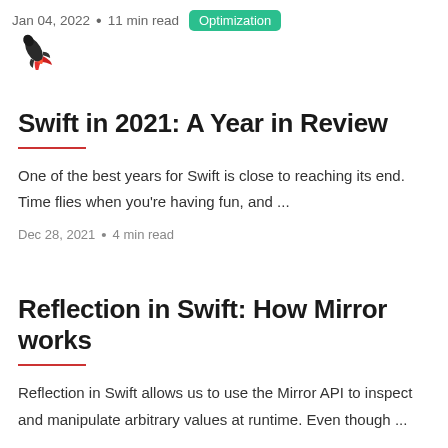Jan 04, 2022 • 11 min read   Optimization
Swift in 2021: A Year in Review
One of the best years for Swift is close to reaching its end. Time flies when you're having fun, and ...
Dec 28, 2021 • 4 min read
Reflection in Swift: How Mirror works
Reflection in Swift allows us to use the Mirror API to inspect and manipulate arbitrary values at runtime. Even though ...